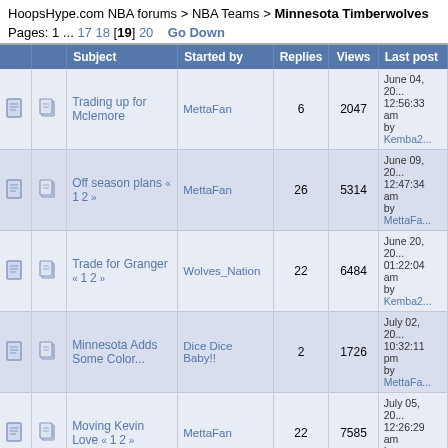HoopsHype.com NBA forums > NBA Teams > Minnesota Timberwolves
Pages: 1 ... 17 18 [19] 20   Go Down
|  |  | Subject | Started by | Replies | Views | Last post |
| --- | --- | --- | --- | --- | --- | --- |
|  |  | Trading up for Mclemore | MettaFan | 6 | 2047 | June 04, 20... 12:56:33 am by Kemba2... |
|  |  | Off season plans « 1 2 » | MettaFan | 26 | 5314 | June 09, 20... 12:47:34 am by MettaFa... |
|  |  | Trade for Granger « 1 2 » | Wolves_Nation | 22 | 6484 | June 20, 20... 01:22:04 am by Kemba2... |
|  |  | Minnesota Adds Some Color... | Dice Dice Baby!! | 2 | 1726 | July 02, 20... 10:32:11 pm by MettaFa... |
|  |  | Moving Kevin Love « 1 2 » | MettaFan | 22 | 7585 | July 05, 20... 12:26:29 am by MettaFa... |
|  |  | Brandon Roy and - Michael Beasley... | Dice Dice Baby!! | 11 | 6322 | August 07, ... 11:24:27 pm by Kemba2... |
|  |  | Saunders Confident Of Re-Signing Pekovic Before Training Camp | Kemba2MKG | 0 | 970 | August 13, ... 01:08:25 am by Kemba2... |
|  |  | Rubio's Offseason |  |  |  |  |